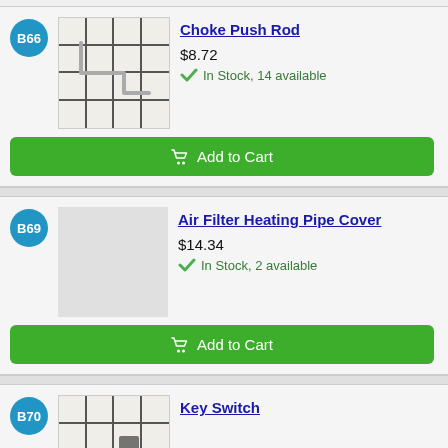[Figure (other): Product image of Choke Push Rod, metal rod with bent ends on grid background]
Choke Push Rod
$8.72
In Stock, 14 available
Add to Cart
Air Filter Heating Pipe Cover
$14.34
In Stock, 2 available
Add to Cart
Key Switch
[Figure (photo): Partial product image of Key Switch with red components on grid background]